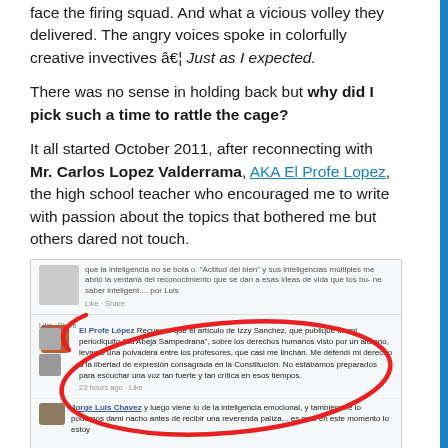face the firing squad. And what a vicious volley they delivered. The angry voices spoke in colorfully creative invectives â€¦ Just as I expected.
There was no sense in holding back but why did I pick such a time to rattle the cage?
It all started October 2011, after reconnecting with Mr. Carlos Lopez Valderrama, AKA El Profe Lopez, the high school teacher who encouraged me to write with passion about the topics that bothered me but others dared not touch.
[Figure (screenshot): Screenshot of a Facebook post by El Profe López discussing an article by Izzy Sanchez about human rights published in 'La Abeja Sampedrana', with a red oval circle drawn around the post. A second post by Jorge Luis Chavez is partially visible below.]
I was reminded of how my first published article ever at the age of 16 created controversy and landed me and El Profe Lopez in hot water. We almost got thrown out of the school but since he was